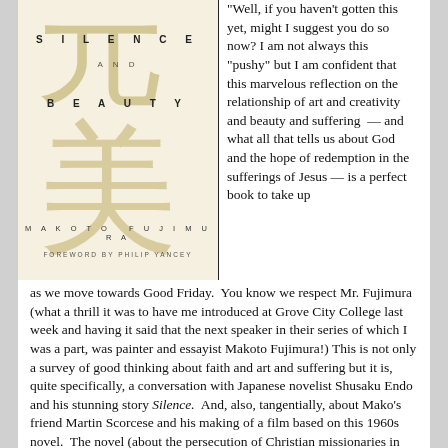[Figure (illustration): Book cover of 'Silence and Beauty' by Makoto Fujimura with foreword by Philip Yancey. Beige/cream background with large gold Japanese kanji characters, and the words SILENCE AND BEAUTY in spaced capital letters.]
"Well, if you haven't gotten this yet, might I suggest you do so now? I am not always this "pushy" but I am confident that this marvelous reflection on the relationship of art and creativity and beauty and suffering — and what all that tells us about God and the hope of redemption in the sufferings of Jesus — is a perfect book to take up as we move towards Good Friday. You know we respect Mr. Fujimura (what a thrill it was to have me introduced at Grove City College last week and having it said that the next speaker in their series of which I was a part, was painter and essayist Makoto Fujimura!) This is not only a survey of good thinking about faith and art and suffering but it is, quite specifically, a conversation with Japanese novelist Shusaku Endo and his stunning story Silence. And, also, tangentially, about Mako's friend Martin Scorcese and his making of a film based on this 1960s novel. The novel (about the persecution of Christian missionaries in Seventeenth Century Japan) was influential in Mako's own journey to Christ and his Christian witness today in the world of the arts and letters is somewhat indebted to Endo's novel. It all comes full circle in Silence and Beauty — Mako